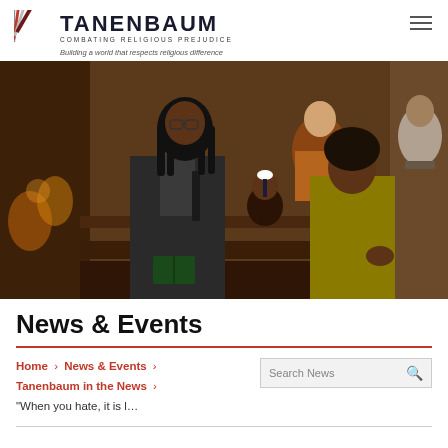Tanenbaum — Combating Religious Prejudice. Building a world that respects religious difference.
[Figure (photo): Photo of a family — a man with dreadlocks in a suit, a young girl, and a woman in a mustard sweater — seated in church pews, smiling at each other. Other congregants visible in the background.]
News & Events
Home > News & Events > Tanenbaum in the News > "When you hate, it is l...
Search News